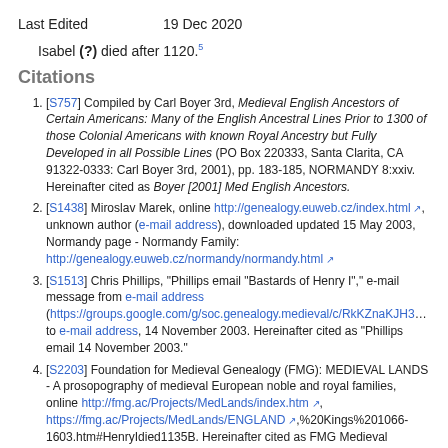Last Edited    19 Dec 2020
Isabel (?) died after 1120.⁵
Citations
[S757] Compiled by Carl Boyer 3rd, Medieval English Ancestors of Certain Americans: Many of the English Ancestral Lines Prior to 1300 of those Colonial Americans with known Royal Ancestry but Fully Developed in all Possible Lines (PO Box 220333, Santa Clarita, CA 91322-0333: Carl Boyer 3rd, 2001), pp. 183-185, NORMANDY 8:xxiv. Hereinafter cited as Boyer [2001] Med English Ancestors.
[S1438] Miroslav Marek, online http://genealogy.euweb.cz/index.html, unknown author (e-mail address), downloaded updated 15 May 2003, Normandy page - Normandy Family: http://genealogy.euweb.cz/normandy/normandy.html
[S1513] Chris Phillips, "Phillips email "Bastards of Henry I"," e-mail message from e-mail address (https://groups.google.com/g/soc.genealogy.medieval/c/RkKZnaKJH3... to e-mail address, 14 November 2003. Hereinafter cited as "Phillips email 14 November 2003."
[S2203] Foundation for Medieval Genealogy (FMG): MEDIEVAL LANDS - A prosopography of medieval European noble and royal families, online http://fmg.ac/Projects/MedLands/index.htm, https://fmg.ac/Projects/MedLands/ENGLAND,%20Kings%201066-1603.htm#HenryIdied1135B. Hereinafter cited as FMG Medieval